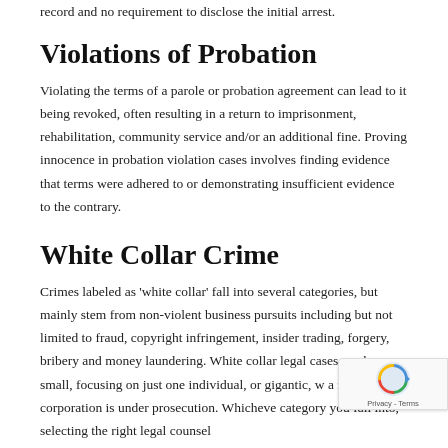record and no requirement to disclose the initial arrest.
Violations of Probation
Violating the terms of a parole or probation agreement can lead to it being revoked, often resulting in a return to imprisonment, rehabilitation, community service and/or an additional fine. Proving innocence in probation violation cases involves finding evidence that terms were adhered to or demonstrating insufficient evidence to the contrary.
White Collar Crime
Crimes labeled as 'white collar' fall into several categories, but mainly stem from non-violent business pursuits including but not limited to fraud, copyright infringement, insider trading, forgery, bribery and money laundering. White collar legal cases can be small, focusing on just one individual, or gigantic, w a major corporation is under prosecution. Whicheve category you fall into, selecting the right legal counsel